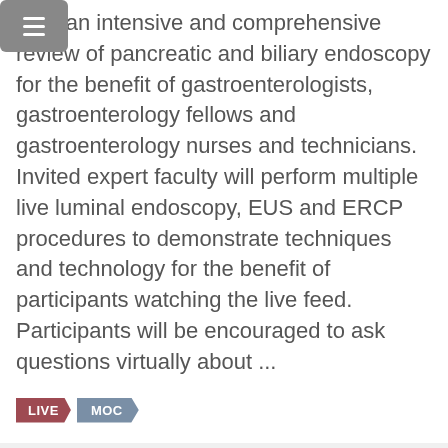offer an intensive and comprehensive review of pancreatic and biliary endoscopy for the benefit of gastroenterologists, gastroenterology fellows and gastroenterology nurses and technicians. Invited expert faculty will perform multiple live luminal endoscopy, EUS and ERCP procedures to demonstrate techniques and technology for the benefit of participants watching the live feed. Participants will be encouraged to ask questions virtually about ...
LIVE  MOC
Register ❯
Details ℹ
IN-PERSON ACTIVITY